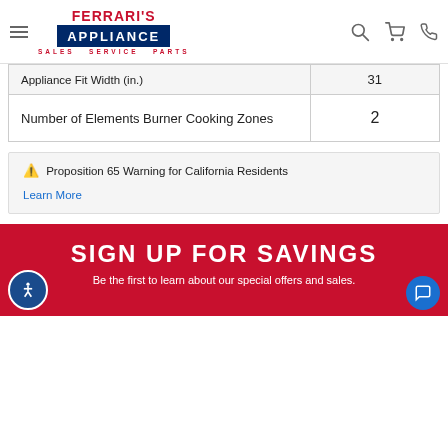Ferrari's Appliance — Sales Service Parts
|  |  |
| --- | --- |
| Appliance Fit Width (in.) | 31 |
| Number of Elements Burner Cooking Zones | 2 |
⚠️ Proposition 65 Warning for California Residents
Learn More
SIGN UP FOR SAVINGS
Be the first to learn about our special offers and sales.